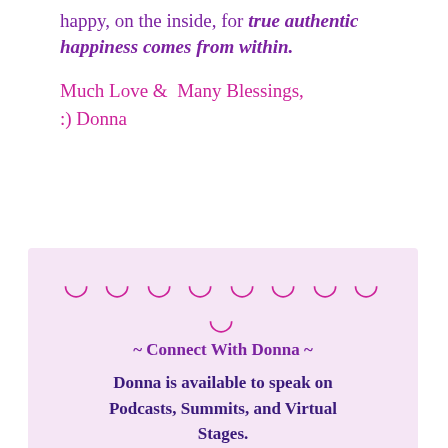happy, on the inside, for true authentic happiness comes from within.
Much Love &  Many Blessings,
:) Donna
꩜ ꩜ ꩜ ꩜ ꩜ ꩜ ꩜ ꩜ ꩜
~ Connect With Donna ~
Donna is available to speak on Podcasts, Summits, and Virtual Stages.
You can email her at
happy@donnaburgher.com